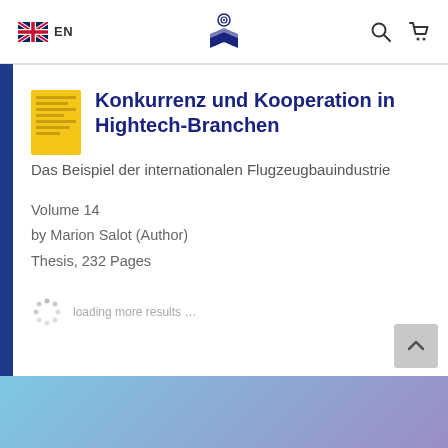EN
Konkurrenz und Kooperation in Hightech-Branchen
Das Beispiel der internationalen Flugzeugbauindustrie
Volume 14
by Marion Salot (Author)
Thesis, 232 Pages
loading more results …